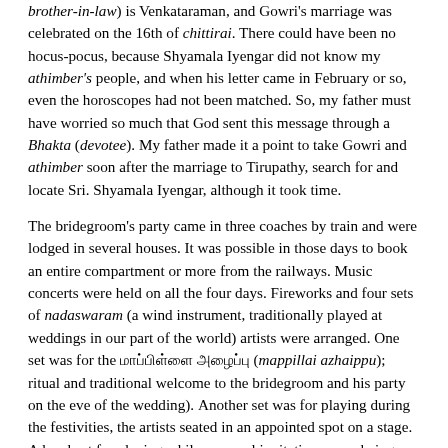brother-in-law) is Venkataraman, and Gowri's marriage was celebrated on the 16th of chittirai. There could have been no hocus-pocus, because Shyamala Iyengar did not know my athimber's people, and when his letter came in February or so, even the horoscopes had not been matched. So, my father must have worried so much that God sent this message through a Bhakta (devotee). My father made it a point to take Gowri and athimber soon after the marriage to Tirupathy, search for and locate Sri. Shyamala Iyengar, although it took time.
The bridegroom's party came in three coaches by train and were lodged in several houses. It was possible in those days to book an entire compartment or more from the railways. Music concerts were held on all the four days. Fireworks and four sets of nadaswaram (a wind instrument, traditionally played at weddings in our part of the world) artists were arranged. One set was for the மாப்பிள்ளை அழைப்பு (mappillai azhaippu); ritual and traditional welcome to the bridegroom and his party on the eve of the wedding). Another set was for playing during the festivities, the artists seated in an appointed spot on a stage. A local set for playing while personal invitations were being given to every house in the course of 3-4 evenings prior to the wedding, and each time